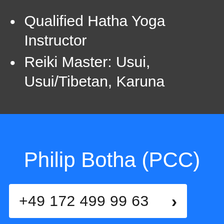Qualified Hatha Yoga Instructor
Reiki Master: Usui, Usui/Tibetan, Karuna
Philip Botha (PCC)
+49 172 499 99 63